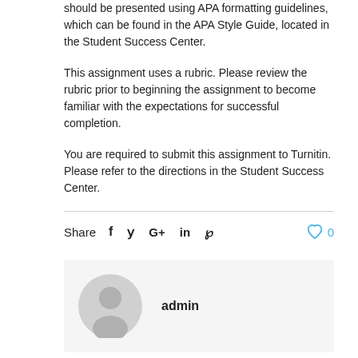should be presented using APA formatting guidelines, which can be found in the APA Style Guide, located in the Student Success Center.
This assignment uses a rubric. Please review the rubric prior to beginning the assignment to become familiar with the expectations for successful completion.
You are required to submit this assignment to Turnitin. Please refer to the directions in the Student Success Center.
Share  f  ʼ  G+  in  ℗   ♡ 0
admin
Related posts